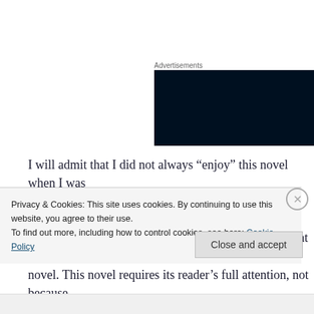[Figure (other): Dark advertisement banner block]
I will admit that I did not always “enjoy” this novel when I was reading it during the day when I was tired. There were definitely times when I wo... showed up to crossbow his father in the chest – but that is my o... novel. This novel requires its reader’s full attention, not because magnificently subtle. I ended up reading large portions of the no...
Privacy & Cookies: This site uses cookies. By continuing to use this website, you agree to their use.
To find out more, including how to control cookies, see here: Cookie Policy
Close and accept